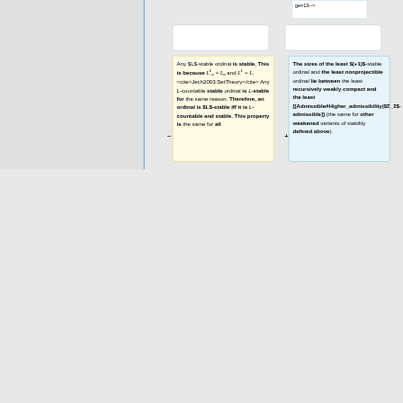ge=13-->
Any $L$-stable ordinal is stable. This is because L^L_α = L_α and L^L = L. <cite>Jech2003:SetTheory</cite> Any L-countable stable ordinal is L-stable for the same reason. Therefore, an ordinal is $L$-stable iff it is L-countable and stable. This property is the same for all
The sizes of the least $(+1)$-stable ordinal and the least nonprojectible ordinal lie between the least recursively weakly compact and the least [[Admissible#Higher_admissibility|$Σ_2$-admissible]] (the same for other weakened variants of stability defined above).